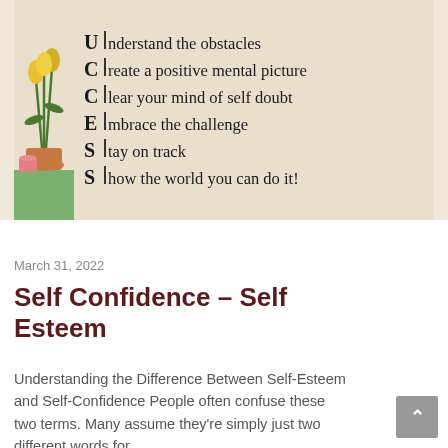[Figure (illustration): Motivational acrostic wall art spelling SUCCESS with lines: Understand the obstacles, Create a positive mental picture, Clear your mind of self doubt, Embrace the challenge, Stay on track, Show the world you can do it! A vase of yellow tulips sits on a green table to the left.]
March 31, 2022
Self Confidence – Self Esteem
Understanding the Difference Between Self-Esteem and Self-Confidence People often confuse these two terms. Many assume they're simply just two different words for